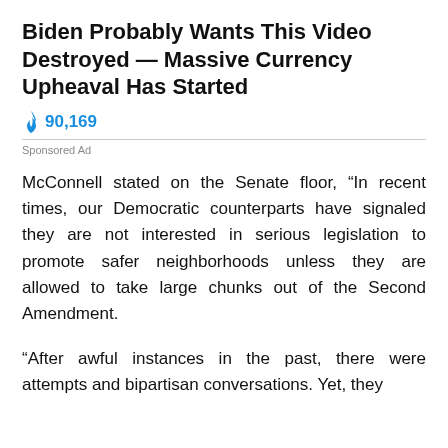Biden Probably Wants This Video Destroyed — Massive Currency Upheaval Has Started
🔥 90,169
Sponsored Ad
McConnell stated on the Senate floor, "In recent times, our Democratic counterparts have signaled they are not interested in serious legislation to promote safer neighborhoods unless they are allowed to take large chunks out of the Second Amendment.
"After awful instances in the past, there were attempts and bipartisan conversations. Yet, they